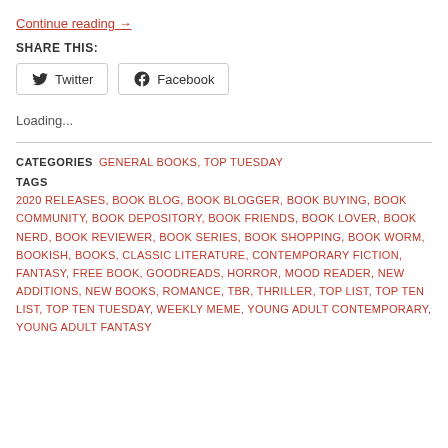Continue reading →
SHARE THIS:
Twitter  Facebook
Loading...
CATEGORIES  GENERAL BOOKS, TOP TUESDAY
TAGS  2020 RELEASES, BOOK BLOG, BOOK BLOGGER, BOOK BUYING, BOOK COMMUNITY, BOOK DEPOSITORY, BOOK FRIENDS, BOOK LOVER, BOOK NERD, BOOK REVIEWER, BOOK SERIES, BOOK SHOPPING, BOOK WORM, BOOKISH, BOOKS, CLASSIC LITERATURE, CONTEMPORARY FICTION, FANTASY, FREE BOOK, GOODREADS, HORROR, MOOD READER, NEW ADDITIONS, NEW BOOKS, ROMANCE, TBR, THRILLER, TOP LIST, TOP TEN LIST, TOP TEN TUESDAY, WEEKLY MEME, YOUNG ADULT CONTEMPORARY, YOUNG ADULT FANTASY